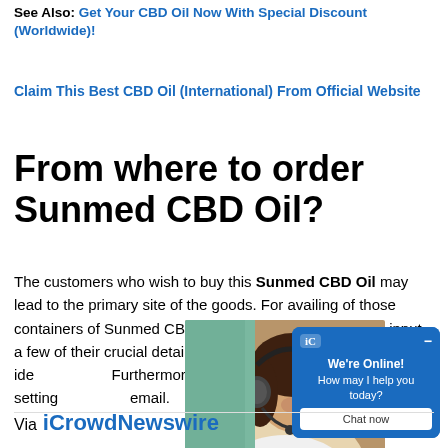See Also: Get Your CBD Oil Now With Special Discount (Worldwide)!
Claim This Best CBD Oil (International) From Official Website
From where to order Sunmed CBD Oil?
The customers who wish to buy this Sunmed CBD Oil may lead to the primary site of the goods. For availing of those containers of Sunmed CBD Oil, the user is necessary to input a few of their crucial details so the item could be sent at the ideal address. Furthermore, in the event of any problems while setting the order, one can write an email.
[Figure (photo): Woman with headset smiling, customer service representative]
[Figure (screenshot): Live chat widget: iC logo, 'We're Online! How may I help you today?' with Chat now button]
Via iCrowdNewswire